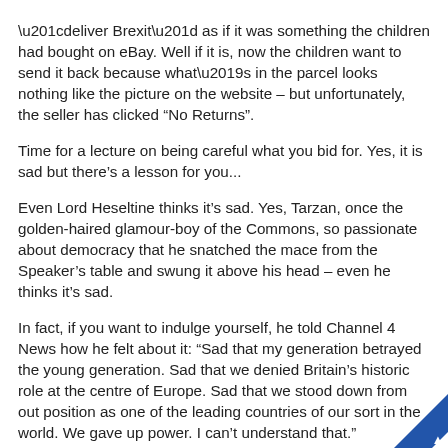“deliver Brexit” as if it was something the children had bought on eBay. Well if it is, now the children want to send it back because what’s in the parcel looks nothing like the picture on the website – but unfortunately, the seller has clicked “No Returns”.
Time for a lecture on being careful what you bid for. Yes, it is sad but there’s a lesson for you...
Even Lord Heseltine thinks it’s sad. Yes, Tarzan, once the golden-haired glamour-boy of the Commons, so passionate about democracy that he snatched the mace from the Speaker’s table and swung it above his head – even he thinks it’s sad.
In fact, if you want to indulge yourself, he told Channel 4 News how he felt about it: “Sad that my generation betrayed the young generation. Sad that we denied Britain’s historic role at the centre of Europe. Sad that we stood down from out position as one of the leading countries of our sort in the world. We gave up power. I can’t understand that.”
It’s a moving interview. You can look it up on YouTube. It’s had 50,000 views – not enough to make any difference, of course. Even those five million signatures aren’t enough. “Go and get 17.5million,” say the Brexiteers.
But hold on, there’s a thought: Things have changed a lot since 2016. It has taken 30 months but now nobody really believes the NHS is going to get £350million a week or that immigration will stop overnight – and anyway, people are feeling much better about immigrants now.
This last piece of the puzzle clicked into place just ten days ago when the world discovered true compassion and leadership watching the New Zealand Prime Minister Jacinda Ardern deal with her crisis.